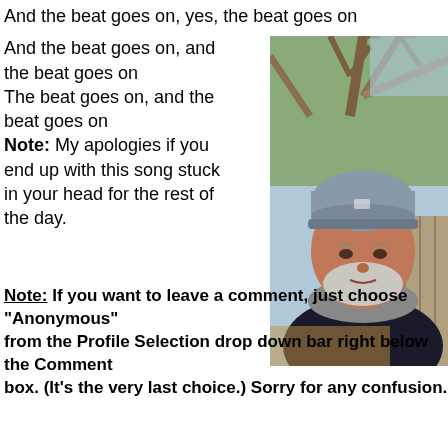And the beat goes on, yes, the beat goes on
And the beat goes on, and the beat goes on
The beat goes on, and the beat goes on
Note: My apologies if you end up with this song stuck in your head for the rest of the day.
[Figure (photo): Outdoor selfie of a middle-aged man with a grey beard wearing a grey knit beanie hat and a dark jacket with a grey scarf, standing in front of bare trees and a wooden fence on a winter day.]
Note:  If you want to leave a comment, just choose "Anonymous" from the Profile Selection drop down bar right below the Comment box. (It's the very last choice.) Sorry for any confusion.
(partial cut-off text at bottom)